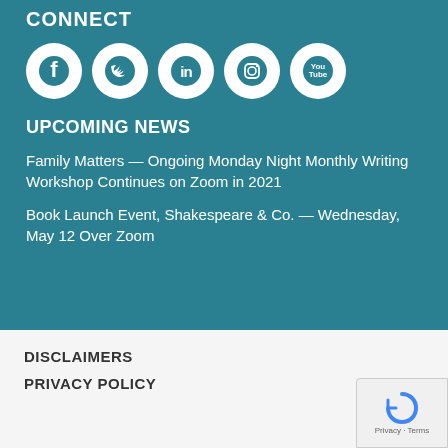CONNECT
[Figure (illustration): Five social media icons in white circles on teal background: Facebook, Twitter, LinkedIn, Instagram, YouTube]
UPCOMING NEWS
Family Matters — Ongoing Monday Night Monthly Writing Workshop Continues on Zoom in 2021
Book Launch Event, Shakespeare & Co. — Wednesday, May 12 Over Zoom
DISCLAIMERS
PRIVACY POLICY